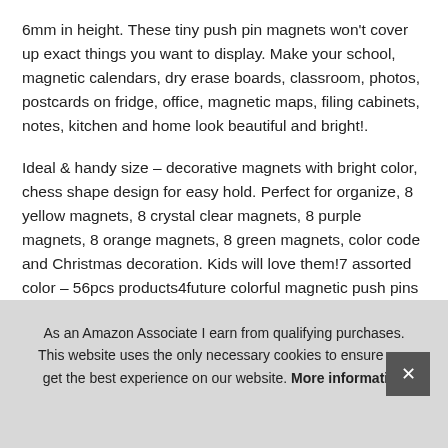6mm in height. These tiny push pin magnets won't cover up exact things you want to display. Make your school, magnetic calendars, dry erase boards, classroom, photos, postcards on fridge, office, magnetic maps, filing cabinets, notes, kitchen and home look beautiful and bright!.
Ideal & handy size – decorative magnets with bright color, chess shape design for easy hold. Perfect for organize, 8 yellow magnets, 8 crystal clear magnets, 8 purple magnets, 8 orange magnets, 8 green magnets, color code and Christmas decoration. Kids will love them!7 assorted color – 56pcs products4future colorful magnetic push pins includes 8 blue magnets, 8 pink magnets. Everything packed in unique and func[tional box, perfect for] sen[ding as a gift]
As an Amazon Associate I earn from qualifying purchases. This website uses the only necessary cookies to ensure you get the best experience on our website. More information